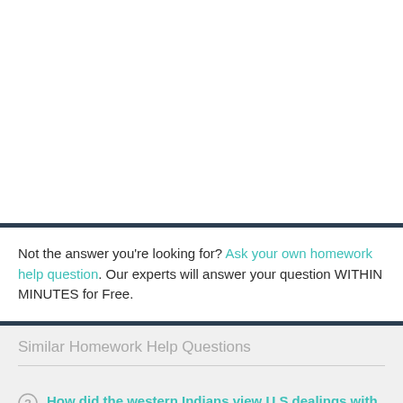Not the answer you're looking for? Ask your own homework help question. Our experts will answer your question WITHIN MINUTES for Free.
Similar Homework Help Questions
How did the western Indians view U.S dealings with the Indians in the decade after the...